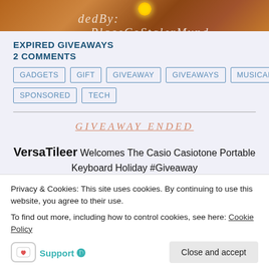[Figure (illustration): Top banner with wood-grain texture background, sun/star graphic, and decorative italic script text]
EXPIRED GIVEAWAYS
2 COMMENTS
GADGETS
GIFT
GIVEAWAY
GIVEAWAYS
MUSICAL
SPONSORED
TECH
GIVEAWAY ENDED
VersaTileer Welcomes The Casio Casiotone Portable Keyboard Holiday #Giveaway @DeliciouslySavv @Casio_USA #Casiotone – Available to US only must be 18+
Privacy & Cookies: This site uses cookies. By continuing to use this website, you agree to their use.
To find out more, including how to control cookies, see here: Cookie Policy
Support 🅓